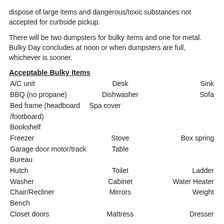dispose of large items and dangerous/toxic substances not accepted for curbside pickup.
There will be two dumpsters for bulky items and one for metal. Bulky Day concludes at noon or when dumpsters are full, whichever is sooner.
Acceptable Bulky Items
| A/C unit | Desk | Sink |
| BBQ (no propane) | Dishwasher | Sofa |
| Bed frame (headboard /footboard) | Spa cover |  |
| Bookshelf |  |  |
| Freezer | Stove | Box spring |
| Garage door motor/track | Table |  |
| Bureau |  |  |
| Hutch | Toilet | Ladder |
| Washer | Cabinet | Water Heater |
| Chair/Recliner | Mirrors | Weight |
| Bench |  |  |
| Closet doors | Mattress | Dresser |